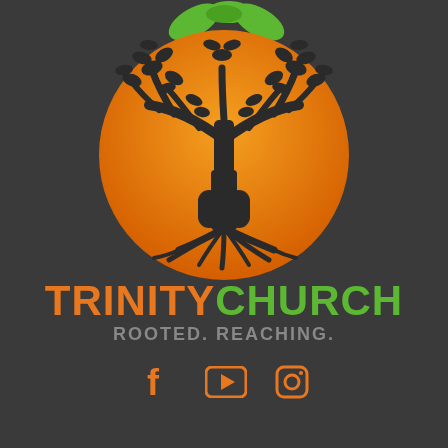[Figure (logo): Trinity Church logo: an orange circle containing a stylized tree with roots and two arched openings at the base, with green leaves sprouting from the top of the circle]
TRINITY CHURCH
ROOTED. REACHING.
[Figure (illustration): Three social media icons in orange: Facebook f logo, YouTube/play button rectangle, Instagram camera outline]